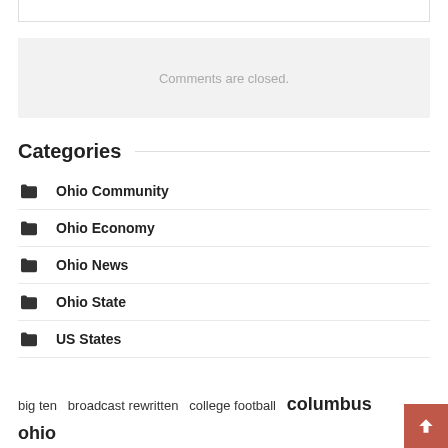Comments are closed.
Categories
Ohio Community
Ohio Economy
Ohio News
Ohio State
US States
big ten  broadcast rewritten  college football  columbus ohio  …